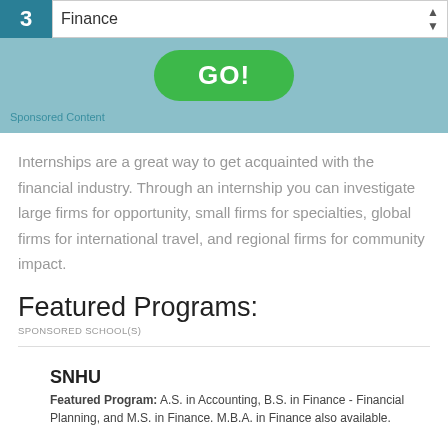[Figure (screenshot): Banner with dropdown selector showing '3 Finance' and a green GO! button on a teal background, with 'Sponsored Content' label]
Internships are a great way to get acquainted with the financial industry. Through an internship you can investigate large firms for opportunity, small firms for specialties, global firms for international travel, and regional firms for community impact.
Featured Programs:
SPONSORED SCHOOL(S)
SNHU
Featured Program: A.S. in Accounting, B.S. in Finance - Financial Planning, and M.S. in Finance. M.B.A. in Finance also available.